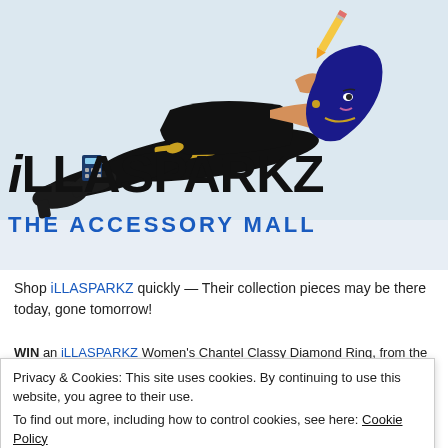[Figure (illustration): Cartoon illustration of a woman in black outfit with gold belt reclining, with blue hair, holding a calculator; a pencil floats above. Text 'iLLASPARKZ' in large bold letters and 'THE ACCESSORY MALL' in blue below.]
Shop iLLASPARKZ quickly — Their collection pieces may be there today, gone tomorrow!
WIN an iLLASPARKZ Women's Chantel Classy Diamond Ring, from the fine
Privacy & Cookies: This site uses cookies. By continuing to use this website, you agree to their use.
To find out more, including how to control cookies, see here: Cookie Policy
Support 🖤
Close and accept